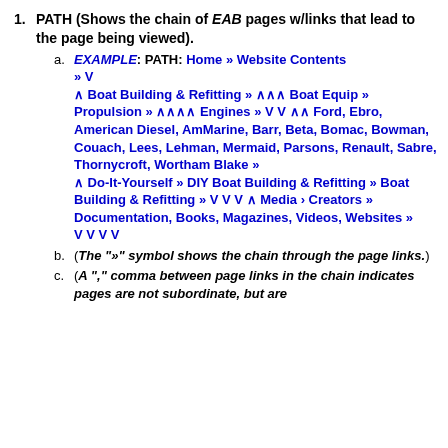PATH (Shows the chain of EAB pages w/links that lead to the page being viewed).
EXAMPLE: PATH: Home » Website Contents » V ∧ Boat Building & Refitting » ∧∧∧ Boat Equip » Propulsion » ∧∧∧∧ Engines » V V ∧∧ Ford, Ebro, American Diesel, AmMarine, Barr, Beta, Bomac, Bowman, Couach, Lees, Lehman, Mermaid, Parsons, Renault, Sabre, Thornycroft, Wortham Blake » ∧ Do-It-Yourself » DIY Boat Building & Refitting » Boat Building & Refitting » V V V ∧ Media › Creators » Documentation, Books, Magazines, Videos, Websites » V V V V
(The "»" symbol shows the chain through the page links.)
(A "," comma between page links in the chain indicates pages are not subordinate, but are